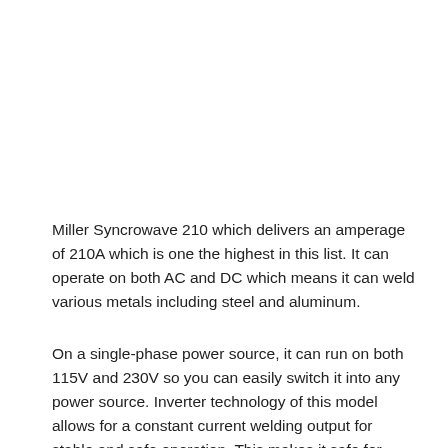Miller Syncrowave 210 which delivers an amperage of 210A which is one the highest in this list. It can operate on both AC and DC which means it can weld various metals including steel and aluminum.
On a single-phase power source, it can run on both 115V and 230V so you can easily switch it into any power source. Inverter technology of this model allows for a constant current welding output for stable and safe operation. This makes it safe for both